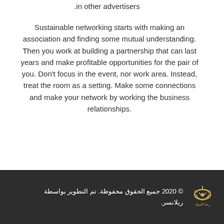.in other advertisers
Sustainable networking starts with making an association and finding some mutual understanding. Then you work at building a partnership that can last years and make profitable opportunities for the pair of you. Don't focus in the event, nor work area. Instead, treat the room as a setting. Make some connections and make your network by working the business relationships.
© 2020 جميع الحقوق محفوظة. تم التطوير بواسطة ريلانسر.